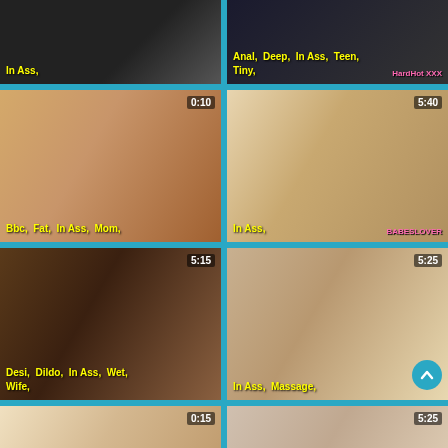[Figure (screenshot): Video thumbnail grid showing adult video thumbnails with tags and durations. Top row: two partial thumbnails. Row 2: '0:10' thumbnail tagged 'Bbc, Fat, In Ass, Mom,' and '5:40' thumbnail tagged 'In Ass,'. Row 3: '5:15' thumbnail tagged 'Desi, Dildo, In Ass, Wet, Wife,' and '5:25' thumbnail tagged 'In Ass, Massage,'. Row 4: '0:15' thumbnail and '5:25' thumbnail partially visible.]